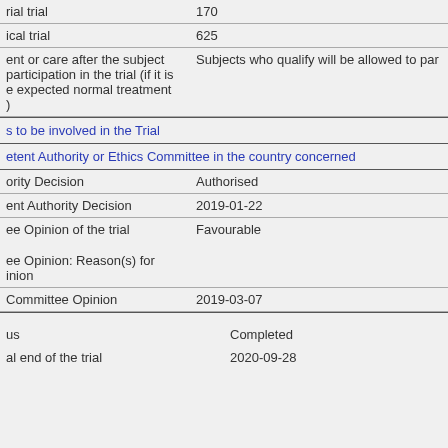| rial trial | 170 |
| ical trial | 625 |
| ent or care after the subject participation in the trial (if it is e expected normal treatment ) | Subjects who qualify will be allowed to par |
s to be involved in the Trial
etent Authority or Ethics Committee in the country concerned
| ority Decision | Authorised |
| ent Authority Decision | 2019-01-22 |
| ee Opinion of the trial | Favourable |
| ee Opinion: Reason(s) for inion |  |
| Committee Opinion | 2019-03-07 |
| us | Completed |
| al end of the trial | 2020-09-28 |